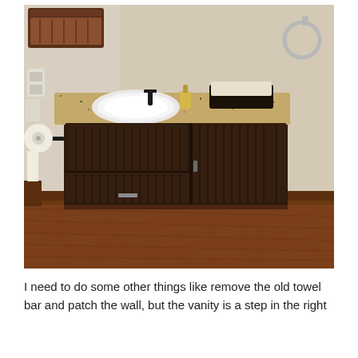[Figure (photo): A bathroom vanity with dark wood cabinetry and a granite countertop. There is a white undermount sink on the left, a black faucet, a bottle of soap, and a decorative basket on the countertop. A toilet paper holder with toilet paper is on the left side panel. A towel ring is mounted on the upper right wall. Above the vanity on the left is a wooden shelf/rack. The floor is hardwood with dark wood baseboard trim. The walls are a neutral beige/tan color.]
I need to do some other things like remove the old towel bar and patch the wall, but the vanity is a step in the right